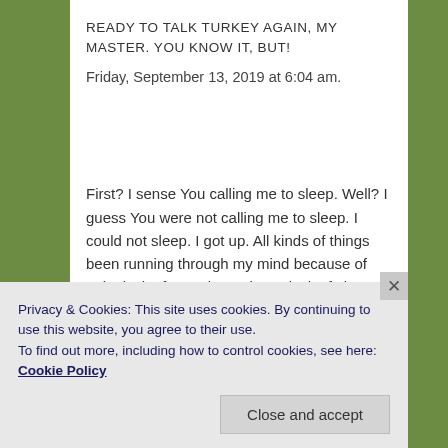READY TO TALK TURKEY AGAIN, MY MASTER. YOU KNOW IT, BUT!
Friday, September 13, 2019 at 6:04 am.
First? I sense You calling me to sleep. Well? I guess You were not calling me to sleep. I could not sleep. I got up. All kinds of things been running through my mind because of pain, lack of appetite and now lack of sleep.
Privacy & Cookies: This site uses cookies. By continuing to use this website, you agree to their use.
To find out more, including how to control cookies, see here: Cookie Policy
Close and accept